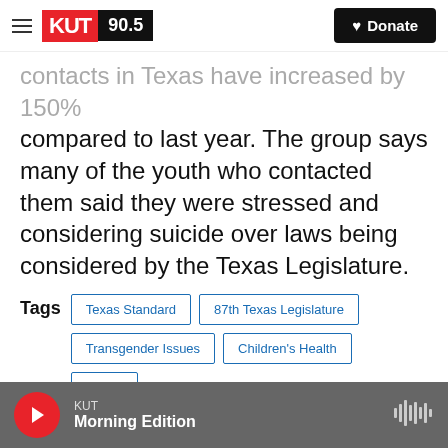KUT 90.5 | Donate
contacts in Texas have increased by 150% compared to last year. The group says many of the youth who contacted them said they were stressed and considering suicide over laws being considered by the Texas Legislature.
Tags: Texas Standard | 87th Texas Legislature | Transgender Issues | Children's Health | Sports
[Figure (other): Social sharing buttons: Facebook, Twitter, LinkedIn, Email]
KUT Morning Edition player bar